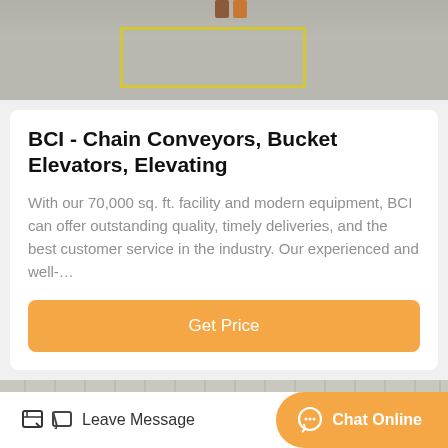[Figure (photo): Top portion of an industrial facility floor with yellow rectangular markings on concrete floor, partially visible]
BCI - Chain Conveyors, Bucket Elevators, Elevating
With our 70,000 sq. ft. facility and modern equipment, BCI can offer outstanding quality, timely deliveries, and the best customer service in the industry. Our experienced and well-…
[Figure (photo): Industrial building exterior with white/grey gridded wall, featuring an orange bucket elevator or similar orange industrial equipment in the foreground]
Leave Message
Chat Online